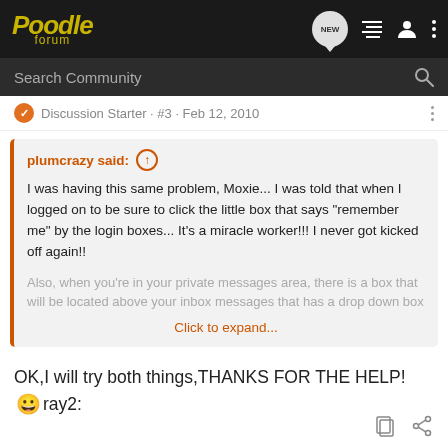Poodle forum
Search Community
Discussion Starter · #3 · Feb 12, 2010
plumcrazy said: ↑
I was having this same problem, Moxie... I was told that when I logged on to be sure to click the little box that says "remember me" by the login boxes... It's a miracle worker!!! I never got kicked off again!!

Also, when you're in your private messages area, there is a box that will be located above your inbox messages that has a drop down box
Click to expand...
OK,I will try both things,THANKS FOR THE HELP! 😀ray2: